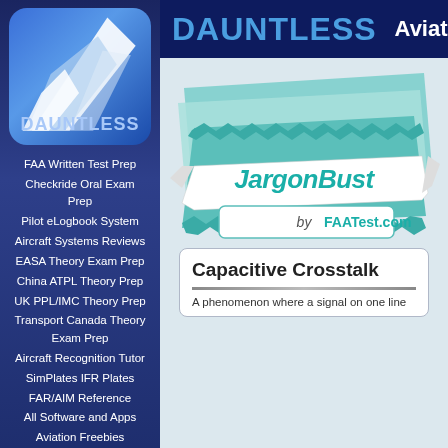[Figure (logo): Dauntless Aviation logo with stylized wing on blue rounded square background]
FAA Written Test Prep
Checkride Oral Exam Prep
Pilot eLogbook System
Aircraft Systems Reviews
EASA Theory Exam Prep
China ATPL Theory Prep
UK PPL/IMC Theory Prep
Transport Canada Theory Exam Prep
Aircraft Recognition Tutor
SimPlates IFR Plates
FAR/AIM Reference
All Software and Apps
Aviation Freebies
DAUNTLESS  Aviation
[Figure (logo): JargonBuster by FAATest.com logo with teal badge and ribbon design]
Capacitive Crosstalk
A phenomenon where a signal on one line...